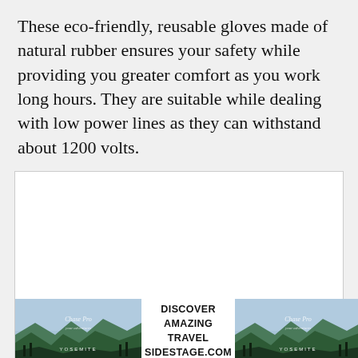These eco-friendly, reusable gloves made of natural rubber ensures your safety while providing you greater comfort as you work long hours. They are suitable while dealing with low power lines as they can withstand about 1200 volts.
[Figure (other): White rectangular image area with an advertisement banner at the bottom showing two landscape/mountain photos flanking centered text that reads DISCOVER AMAZING TRAVEL SIDESTAGE.COM]